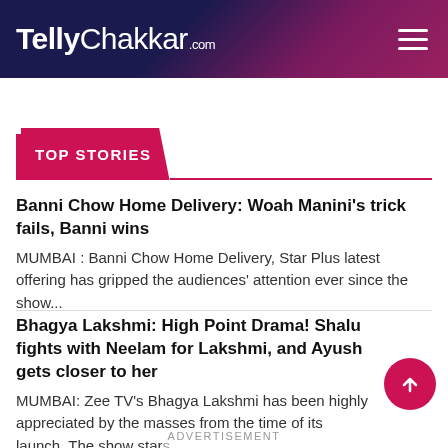TellyChakkar.com
TOP STORIES
Banni Chow Home Delivery: Woah Manini's trick fails, Banni wins
MUMBAI : Banni Chow Home Delivery, Star Plus latest offering has gripped the audiences' attention ever since the show...
Bhagya Lakshmi: High Point Drama! Shalu fights with Neelam for Lakshmi, and Ayush gets closer to her
MUMBAI: Zee TV's Bhagya Lakshmi has been highly appreciated by the masses from the time of its launch. The show stars
ADVERTISEMENT